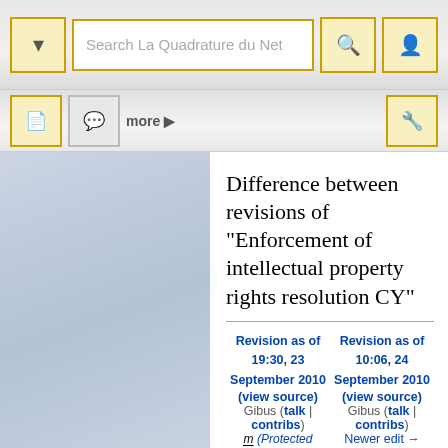[Figure (screenshot): Wikipedia-style website toolbar with search box 'Search La Quadrature du Net', navigation buttons and icons]
Difference between revisions of "Enforcement of intellectual property rights resolution CY"
Revision as of 19:30, 23 September 2010 (view source) Gibus (talk | contribs) m (Protected "Enforcement of intellectual property rights
Revision as of 10:06, 24 September 2010 (view source) Gibus (talk | contribs) Newer edit →